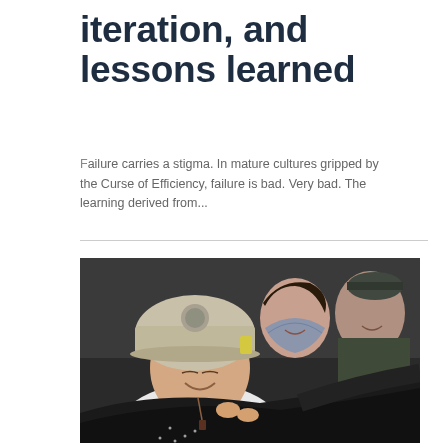iteration, and lessons learned
Failure carries a stigma. In mature cultures gripped by the Curse of Efficiency, failure is bad. Very bad. The learning derived from...
[Figure (photo): A smiling young girl wearing an oversized firefighter helmet sits inside a vehicle cockpit, with a smiling woman wearing a scarf and a man in a military/aviation uniform visible behind her.]